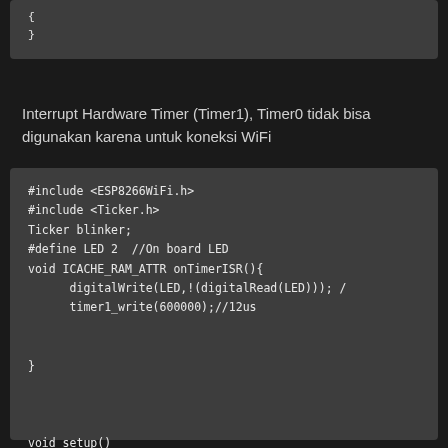[Figure (screenshot): Code block showing closing brace of a function]
Interrupt Hardware Timer (Timer1), Timer0 tidak bisa digunakan karena untuk koneksi WiFi
[Figure (screenshot): Code block showing ESP8266 Arduino sketch with #include <ESP8266WiFi.h>, #include <Ticker.h>, Ticker blinker;, #define LED 2 //On board LED, void ICACHE_RAM_ATTR onTimerISR(){ digitalWrite(LED,!(digitalRead(LED))); / timer1_write(600000);//12us }, void setup()]